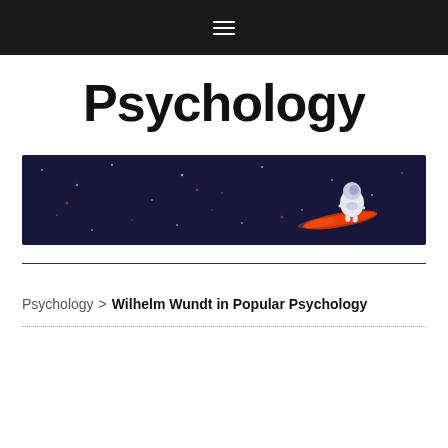≡
Psychology
[Figure (illustration): Dark space-themed banner with a cartoon astronaut floating on a red surfboard against a dark navy starfield background]
Psychology > Wilhelm Wundt in Popular Psychology